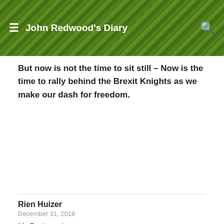John Redwood's Diary
But now is not the time to sit still – Now is the time to rally behind the Brexit Knights as we make our dash for freedom.
Rien Huizer
December 31, 2018

Mr Redwood,

The EU is completely open to a UKEUFTA. There is only one problem in the bilateral relationship between Ireland and the UK over the issue of borders on the island of Ireland. The EU cannot afford a different international border than it has elsewhere (in principle, a very technical subject) and Ireland